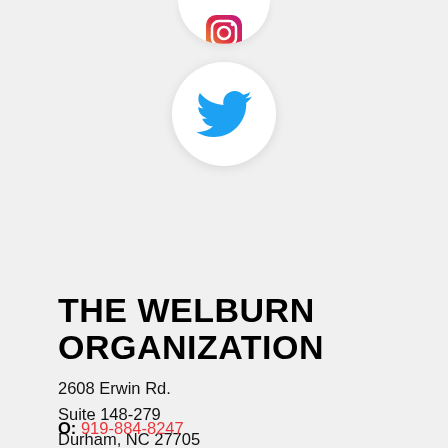[Figure (illustration): Partially visible Instagram icon circle (pink/red gradient camera icon) cropped at top of page, and a Twitter bird icon in a white circle below it, centered on a light gray background.]
THE WELBURN ORGANIZATION
2608 Erwin Rd.
Suite 148-279
Durham, NC 27705
O: 919-884-8247
F: 919-747-8835